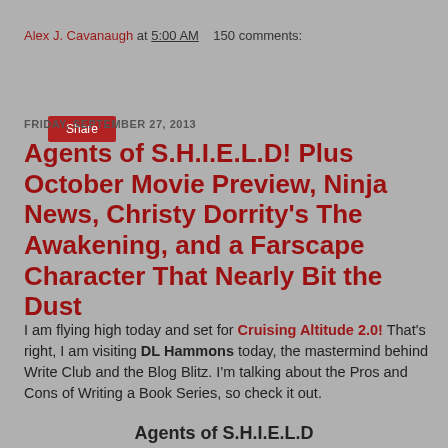Alex J. Cavanaugh at 5:00 AM   150 comments:
Share
FRIDAY, SEPTEMBER 27, 2013
Agents of S.H.I.E.L.D! Plus October Movie Preview, Ninja News, Christy Dorrity’s The Awakening, and a Farscape Character That Nearly Bit the Dust
I am flying high today and set for Cruising Altitude 2.0! That’s right, I am visiting DL Hammons today, the mastermind behind Write Club and the Blog Blitz. I’m talking about the Pros and Cons of Writing a Book Series, so check it out.
Agents of S.H.I.E.L.D